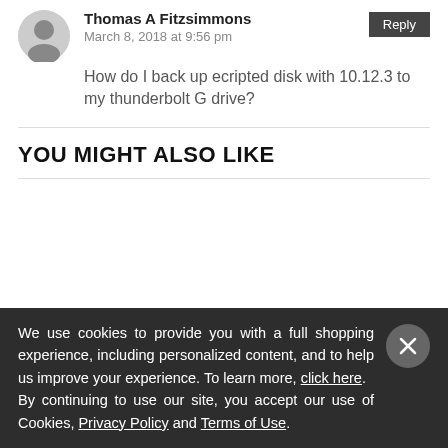Thomas A Fitzsimmons
March 8, 2018 at 9:56 pm
How do I back up ecripted disk with 10.12.3 to my thunderbolt G drive?
YOU MIGHT ALSO LIKE
We use cookies to provide you with a full shopping experience, including personalized content, and to help us improve your experience. To learn more, click here. By continuing to use our site, you accept our use of Cookies, Privacy Policy and Terms of Use.